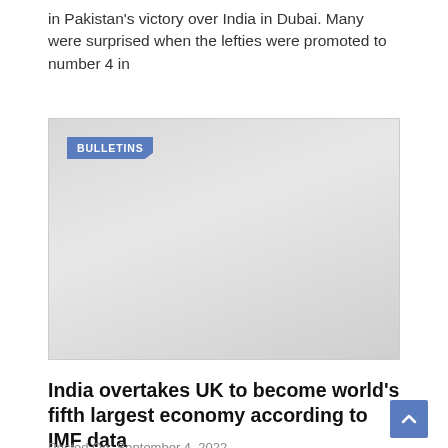in Pakistan's victory over India in Dubai. Many were surprised when the lefties were promoted to number 4 in
[Figure (photo): Gray/blank image placeholder with a 'BULLETINS' label tag in the upper left corner colored blue.]
India overtakes UK to become world's fifth largest economy according to IMF data
Posted On: September 4, 2022
India is now the world's fifth-largest economy after